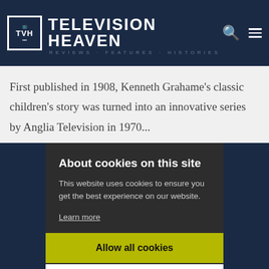TELEVISION HEAVEN
First published in 1908, Kenneth Grahame's classic children's story was turned into an innovative series by Anglia Television in 1970...
About cookies on this site
This website uses cookies to ensure you get the best experience on our website.
Learn more
Allow all cookies
Cookie settings
TELEVISION HEAVEN MAGAZINE ›